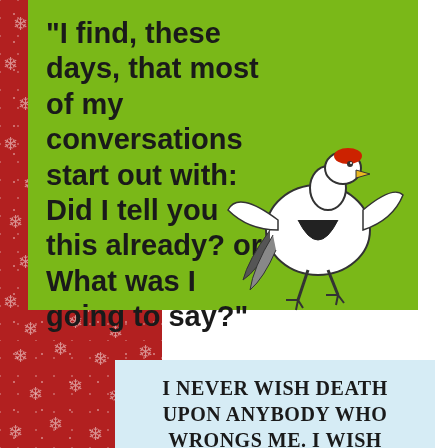[Figure (illustration): Green card with humorous quote text and a cartoon bird character running, overlaid on a red snowflake-patterned background. The top portion shows green card with bold black text and a cartoon white bird with red head running.]
“I find, these days, that most of my conversations start out with: Did I tell you this already? or What was I going to say?”
[Figure (illustration): Light blue card with bold uppercase humorous text, overlaid on continuation of red snowflake background.]
I NEVER WISH DEATH UPON ANYBODY WHO WRONGS ME. I WISH